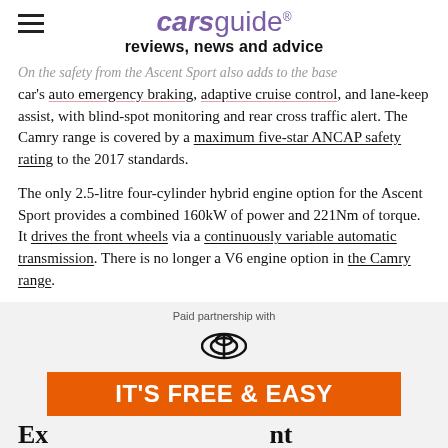carsguide reviews, news and advice
On the safety from the Ascent Sport also adds to the base car's auto emergency braking, adaptive cruise control, and lane-keep assist, with blind-spot monitoring and rear cross traffic alert. The Camry range is covered by a maximum five-star ANCAP safety rating to the 2017 standards.
The only 2.5-litre four-cylinder hybrid engine option for the Ascent Sport provides a combined 160kW of power and 221Nm of torque. It drives the front wheels via a continuously variable automatic transmission. There is no longer a V6 engine option in the Camry range.
[Figure (logo): Toyota logo with 'Paid partnership with' text above and orange 'IT'S FREE & EASY' banner below]
Ex...nt